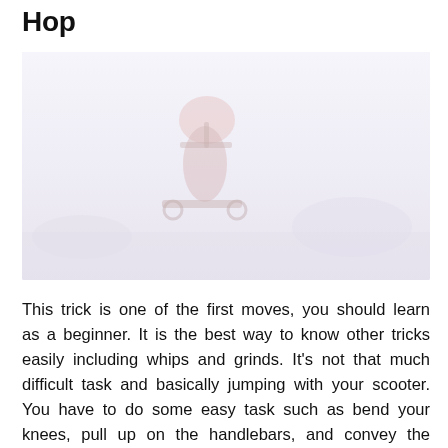Hop
[Figure (photo): A person performing a scooter trick, likely a hop/jump, captured mid-air or in action. The image has a faded, light pinkish-white tone with a person riding a scooter visible in the scene.]
This trick is one of the first moves, you should learn as a beginner. It is the best way to know other tricks easily including whips and grinds. It’s not that much difficult task and basically jumping with your scooter. You have to do some easy task such as bend your knees, pull up on the handlebars, and convey the deck up with you.